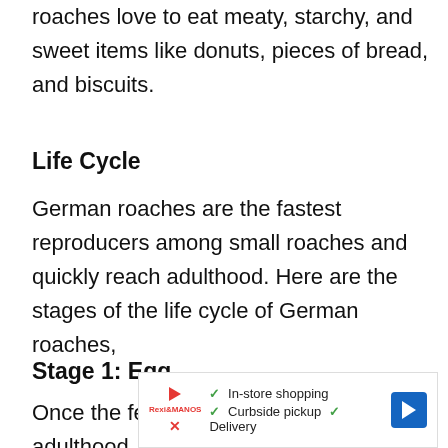roaches love to eat meaty, starchy, and sweet items like donuts, pieces of bread, and biscuits.
Life Cycle
German roaches are the fastest reproducers among small roaches and quickly reach adulthood. Here are the stages of the life cycle of German roaches,
Stage 1: Egg
Once the female and male reach adulthood,
[Figure (infographic): Advertisement banner with play button, store logo, checkmarks for In-store shopping, Curbside pickup, Delivery, and a blue navigation arrow icon.]